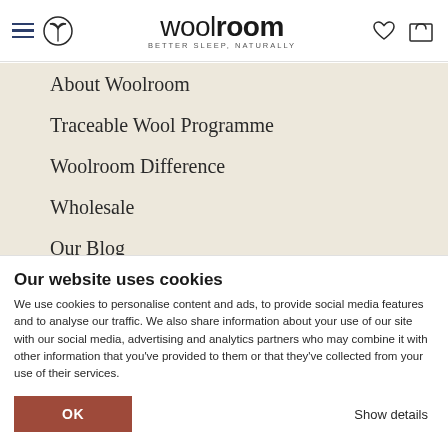woolroom — BETTER SLEEP, NATURALLY
About Woolroom
Traceable Wool Programme
Woolroom Difference
Wholesale
Our Blog
Reviews
Our website uses cookies
We use cookies to personalise content and ads, to provide social media features and to analyse our traffic. We also share information about your use of our site with our social media, advertising and analytics partners who may combine it with other information that you've provided to them or that they've collected from your use of their services.
OK
Show details